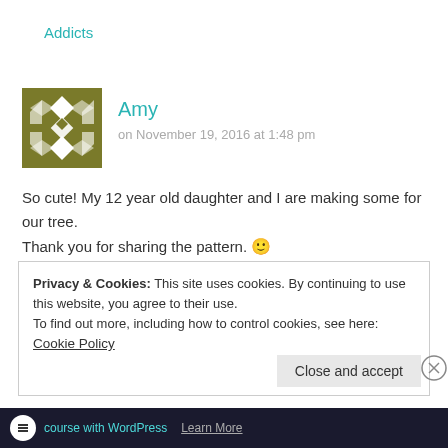Addicts
Amy
on November 19, 2016 at 1:48 pm
So cute! My 12 year old daughter and I are making some for our tree. Thank you for sharing the pattern. 🙂
Reply
Privacy & Cookies: This site uses cookies. By continuing to use this website, you agree to their use.
To find out more, including how to control cookies, see here: Cookie Policy
Close and accept
course with WordPress Learn More